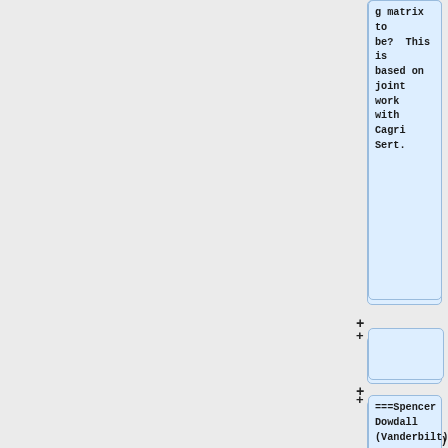g matrix to be?  This is based on joint work with Cagri Sert.
===Spencer Dowdall (Vanderbilt)===
''Orientability for fully irreducible free group automorphisms''